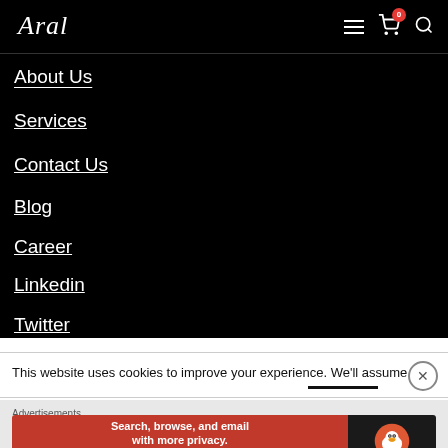Aral (logo) — navigation header with hamburger menu, cart icon (0), and search icon
About Us
Services
Contact Us
Blog
Career
Linkedin
Twitter
This website uses cookies to improve your experience. We'll assume
Advertisements
[Figure (screenshot): DuckDuckGo advertisement banner: orange background with text 'Search, browse, and email with more privacy. All in One Free App' and DuckDuckGo logo on dark background]